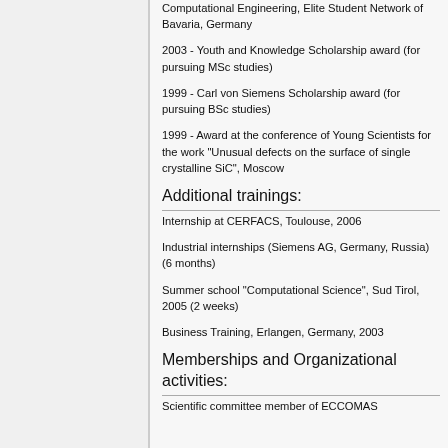Computational Engineering, Elite Student Network of Bavaria, Germany
2003 - Youth and Knowledge Scholarship award (for pursuing MSc studies)
1999 - Carl von Siemens Scholarship award (for pursuing BSc studies)
1999 - Award at the conference of Young Scientists for the work "Unusual defects on the surface of single crystalline SiC", Moscow
Additional trainings:
Internship at CERFACS, Toulouse, 2006
Industrial internships (Siemens AG, Germany, Russia) (6 months)
Summer school "Computational Science", Sud Tirol, 2005 (2 weeks)
Business Training, Erlangen, Germany, 2003
Memberships and Organizational activities:
Scientific committee member of ECCOMAS